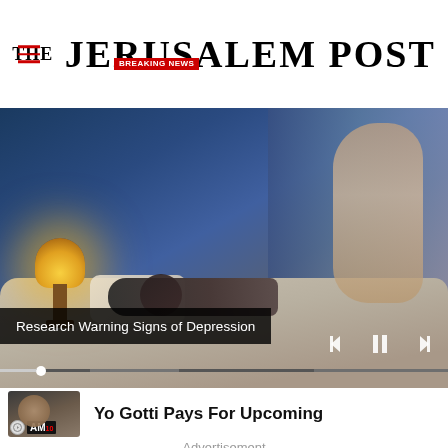THE JERUSALEM POST
[Figure (photo): Video player showing a bedroom scene with a person lying in bed next to a lamp, with media playback controls visible and a progress bar. Video overlay text reads 'Research Warning Signs of Depression'.]
Research Warning Signs of Depression
Yo Gotti Pays For Upcoming
Advertisement